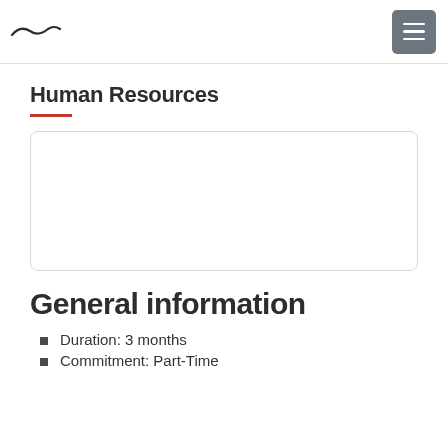Human Resources — navigation header with hamburger menu
Human Resources
[Figure (other): Empty white card box with rounded border]
General information
Duration: 3 months
Commitment: Part-Time